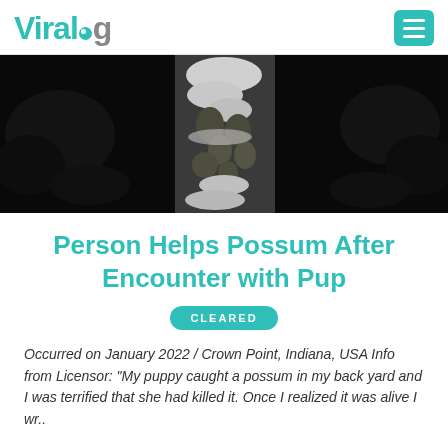ViralHog
[Figure (photo): Dark night-time video thumbnail showing snow-covered ground with dark rocky or leaf-covered patches visible, appears to be an outdoor scene at night with snow.]
Person Helps Possum After Encounter with Pup
CLEARED
Occurred on January 2022 / Crown Point, Indiana, USA Info from Licensor: "My puppy caught a possum in my back yard and I was terrified that she had killed it. Once I realized it was alive I wr..